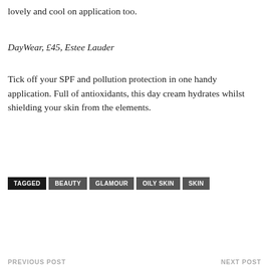lovely and cool on application too.
DayWear, £45, Estee Lauder
Tick off your SPF and pollution protection in one handy application. Full of antioxidants, this day cream hydrates whilst shielding your skin from the elements.
TAGGED  BEAUTY  GLAMOUR  OILY SKIN  SKIN
PREVIOUS POST    NEXT POST